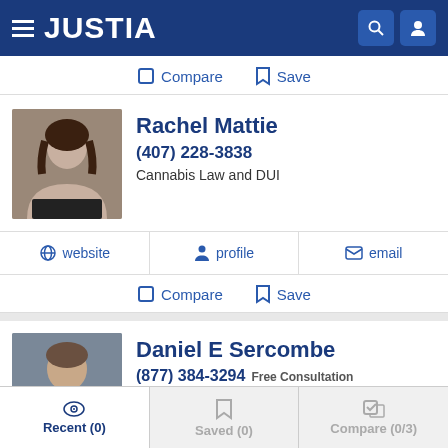JUSTIA
Compare  Save
Rachel Mattie
(407) 228-3838
Cannabis Law and DUI
website  profile  email
Compare  Save
Daniel E Sercombe
(877) 384-3294 Free Consultation
Cannabis Law, Appeals, Criminal and DUI
Recent (0)  Saved (0)  Compare (0/3)